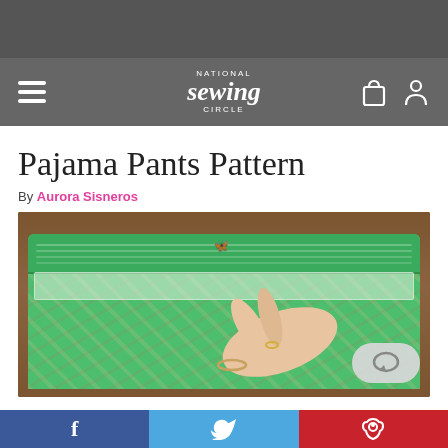[Figure (screenshot): Dark grey top banner bar]
National Sewing Circle — navigation bar with hamburger menu, logo, and icons
Pajama Pants Pattern
By Aurora Sisneros
[Figure (photo): Photo of green floral pajama pants with elastic waistband laid flat on a wood surface, with a hand pointing at the waistband and a small yellow butterfly pin. A chat bubble icon overlay is in the bottom right corner.]
Social share buttons: Facebook, Twitter, Pinterest